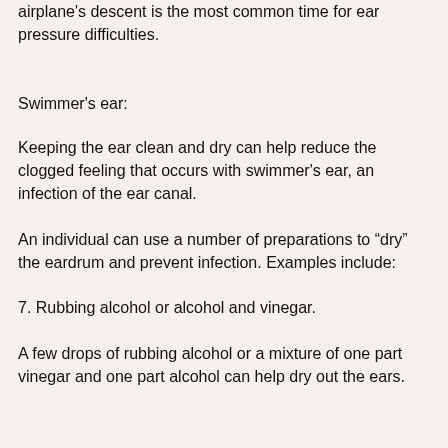airplane's descent is the most common time for ear pressure difficulties.
Swimmer's ear:
Keeping the ear clean and dry can help reduce the clogged feeling that occurs with swimmer's ear, an infection of the ear canal.
An individual can use a number of preparations to “dry” the eardrum and prevent infection. Examples include:
7. Rubbing alcohol or alcohol and vinegar.
A few drops of rubbing alcohol or a mixture of one part vinegar and one part alcohol can help dry out the ears.
8. Commercial preparations.
Many drugstores sell packaged ear drops that are designed to remove water from the ears.